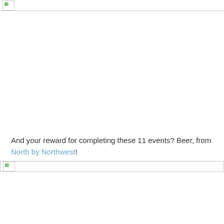[Figure (photo): Broken image placeholder at top of page]
And your reward for completing these 11 events? Beer, from North by Northwest!
[Figure (photo): Broken image placeholder at bottom of page]